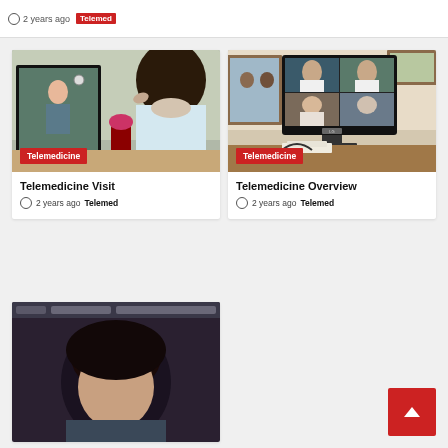2 years ago  Telemed
[Figure (photo): Person watching a telemedicine video call on a TV screen showing a female doctor, with a 'Telemedicine' red badge overlay]
Telemedicine Visit
2 years ago  Telemed
[Figure (photo): LG monitor showing a video conference with doctors and a patient in a medical setting, with a 'Telemedicine' red badge overlay]
Telemedicine Overview
2 years ago  Telemed
[Figure (photo): Partial view of a person on a video call displayed on a screen]
[Figure (other): Red scroll-to-top button with a white upward arrow]